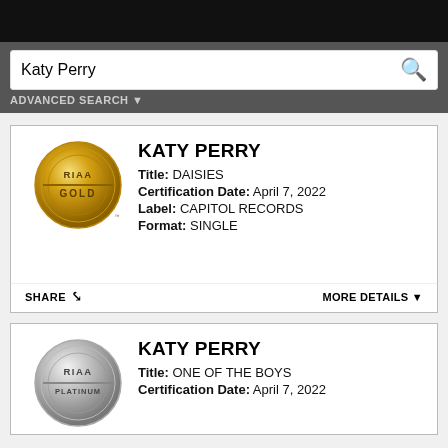Katy Perry
ADVANCED SEARCH
KATY PERRY
Title: DAISIES
Certification Date: April 7, 2022
Label: CAPITOL RECORDS
Format: SINGLE
SHARE   MORE DETAILS
KATY PERRY
Title: ONE OF THE BOYS
Certification Date: April 7, 2022